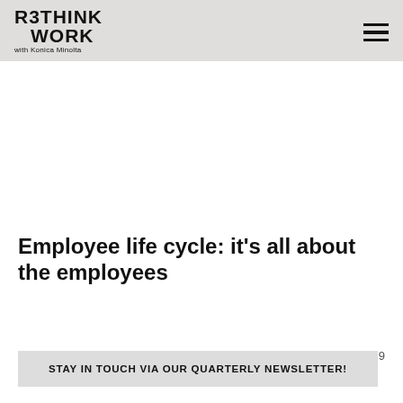RETHINK WORK with Konica Minolta
Employee life cycle: it's all about the employees
NEW WORK   08.07.2019
STAY IN TOUCH VIA OUR QUARTERLY NEWSLETTER!